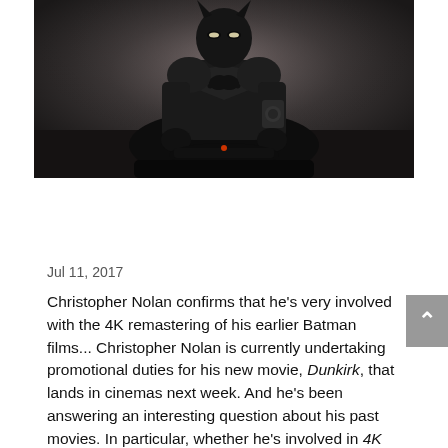[Figure (photo): Batman character in full black costume and mask, seated on what appears to be a vehicle or motorcycle, dark background with dramatic lighting]
Jul 11, 2017
Christopher Nolan confirms that he's very involved with the 4K remastering of his earlier Batman films... Christopher Nolan is currently undertaking promotional duties for his new movie, Dunkirk, that lands in cinemas next week. And he's been answering an interesting question about his past movies. In particular, whether he's involved in 4K